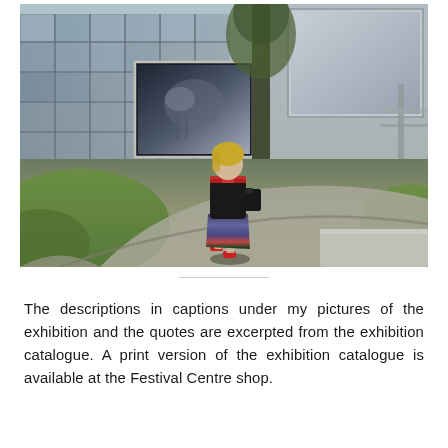[Figure (photo): Outdoor photograph of a woman walking away from the camera along a curved path near a modernist building. Large framed photographs are displayed on the building facade. The woman has blonde hair, wears a black top, a colorful skirt, and red shoes, and carries a black bag. Green trees and grass are visible. Sunny day.]
The descriptions in captions under my pictures of the exhibition and the quotes are excerpted from the exhibition catalogue. A print version of the exhibition catalogue is available at the Festival Centre shop.